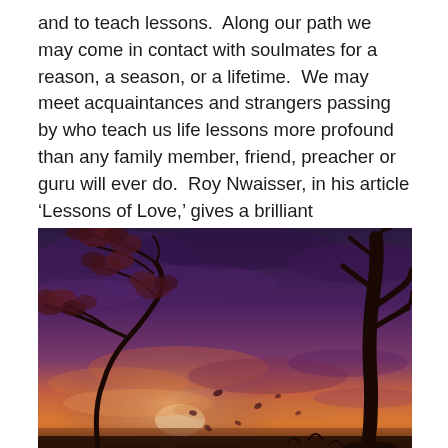and to teach lessons.  Along our path we may come in contact with soulmates for a reason, a season, or a lifetime.  We may meet acquaintances and strangers passing by who teach us life lessons more profound than any family member, friend, preacher or guru will ever do.  Roy Nwaisser, in his article ‘Lessons of Love,’ gives a brilliant explanation for different life lessons and goes even further to look through to the person’s heart and soul.  He clearly teaches a lesson here in not to judge other people.
[Figure (photo): A dramatic twilight sky with purple and orange hues. A dark tree with sparse autumn leaves bends in the wind on the left side. A tall dark tree trunk is visible on the right. Leaves are scattered in the air. The sun glows low on the horizon through clouds.]